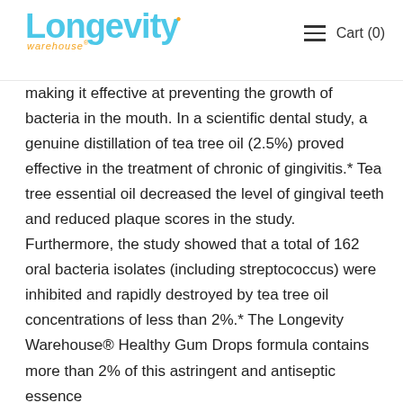Longevity warehouse — Cart (0)
making it effective at preventing the growth of bacteria in the mouth. In a scientific dental study, a genuine distillation of tea tree oil (2.5%) proved effective in the treatment of chronic of gingivitis.* Tea tree essential oil decreased the level of gingival teeth and reduced plaque scores in the study. Furthermore, the study showed that a total of 162 oral bacteria isolates (including streptococcus) were inhibited and rapidly destroyed by tea tree oil concentrations of less than 2%.* The Longevity Warehouse® Healthy Gum Drops formula contains more than 2% of this astringent and antiseptic essence